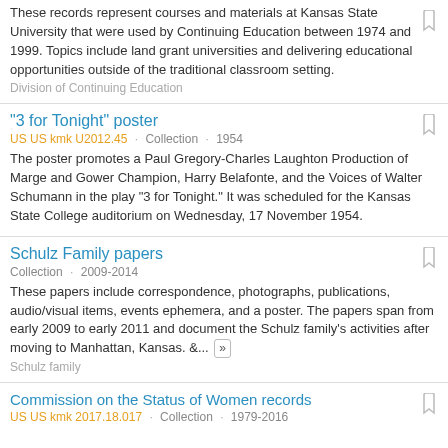These records represent courses and materials at Kansas State University that were used by Continuing Education between 1974 and 1999. Topics include land grant universities and delivering educational opportunities outside of the traditional classroom setting.
Division of Continuing Education
"3 for Tonight" poster
US US kmk U2012.45 · Collection · 1954
The poster promotes a Paul Gregory-Charles Laughton Production of Marge and Gower Champion, Harry Belafonte, and the Voices of Walter Schumann in the play "3 for Tonight."  It was scheduled for the Kansas State College auditorium on Wednesday, 17 November 1954.
Schulz Family papers
Collection · 2009-2014
These papers include correspondence, photographs, publications, audio/visual items, events ephemera, and a poster.  The papers span from early 2009 to early 2011 and document the Schulz family's activities after moving to Manhattan, Kansas. &...
Schulz family
Commission on the Status of Women records
US US kmk 2017.18.017 · Collection · 1979-2016